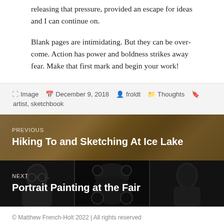releasing that pressure, provided an escape for ideas and I can continue on.
Blank pages are intimidating. But they can be overcome. Action has power and boldness strikes away fear. Make that first mark and begin your work!
Image  December 9, 2018  froldt  Thoughts  artist, sketchbook
[Figure (photo): Navigation link to previous post with background photo of a landscape painting, watercolor with brown/gold tones]
PREVIOUS
Hiking To and Sketching At Ice Lake
[Figure (photo): Navigation link to next post with background photo showing pencil portrait drawings in grayscale, three columns of portraits]
NEXT
Portrait Painting at the Fair
© Matthew French-Holt 2022 | All rights reserved